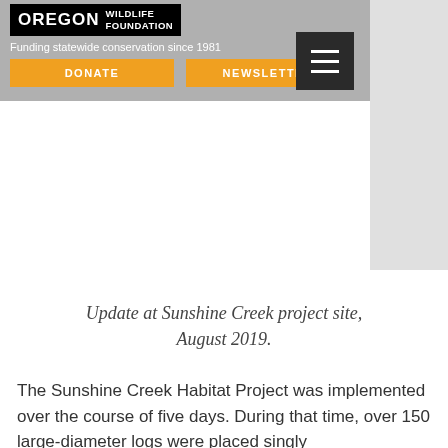Weyerhaeuser and members of ODFW in the Siletz Basin.
[Figure (logo): Oregon Wildlife Foundation logo with black background, text OREGON WILDLIFE FOUNDATION and tagline Funding statewide conservation since 1981, with orange DONATE and NEWSLETTER buttons, and a dark hamburger menu button]
Update at Sunshine Creek project site, August 2019.
The Sunshine Creek Habitat Project was implemented over the course of five days. During that time, over 150 large-diameter logs were placed singly or in small clusters, and over 1-2